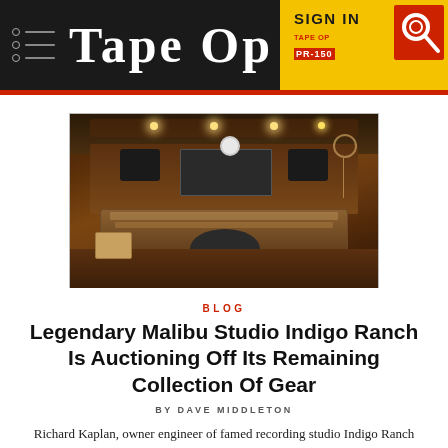TAPE OP  SIGN IN
[Figure (photo): Interior of Indigo Ranch recording studio in Malibu, showing a large mixing console, studio chairs, acoustic panels on walls and ceiling, speakers, and warm wood finishes with moody lighting.]
BLOG
Legendary Malibu Studio Indigo Ranch Is Auctioning Off Its Remaining Collection Of Gear
BY DAVE MIDDLETON
Richard Kaplan, owner engineer of famed recording studio Indigo Ranch [Tape Op #103] is selling the remaining of his choosing instrument collection. It